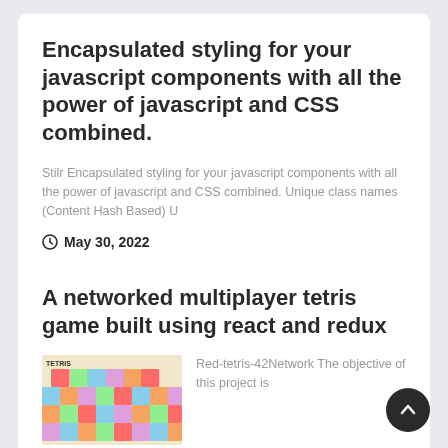Encapsulated styling for your javascript components with all the power of javascript and CSS combined.
Stilr Encapsulated styling for your javascript components with all the power of javascript and CSS combined. Unique class names (Content Hash Based) U
May 30, 2022
A networked multiplayer tetris game built using react and redux
[Figure (photo): Photo of colorful tetris blocks stacked together]
Red-tetris-42Network The objective of this project is